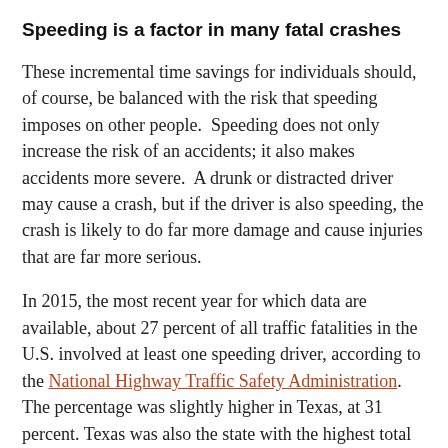Speeding is a factor in many fatal crashes
These incremental time savings for individuals should, of course, be balanced with the risk that speeding imposes on other people.  Speeding does not only increase the risk of an accidents; it also makes accidents more severe.  A drunk or distracted driver may cause a crash, but if the driver is also speeding, the crash is likely to do far more damage and cause injuries that are far more serious.
In 2015, the most recent year for which data are available, about 27 percent of all traffic fatalities in the U.S. involved at least one speeding driver, according to the National Highway Traffic Safety Administration.  The percentage was slightly higher in Texas, at 31 percent. Texas was also the state with the highest total number of speeding-related fatalities in 2015, with 1,105.  The NHTSA found that speeding drivers involved in fatal crashes were more likely to have been drinking than non-speeding drivers involved in fatal crashes